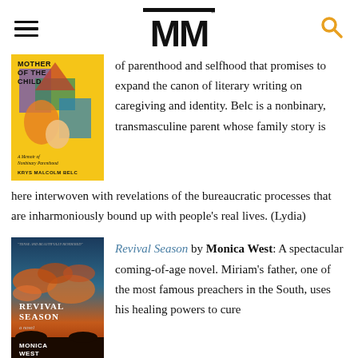MM
[Figure (photo): Book cover: Mother of the Child by Krys Malcolm Belc, yellow cover with paper collage imagery]
of parenthood and selfhood that promises to expand the canon of literary writing on caregiving and identity. Belc is a nonbinary, transmasculine parent whose family story is here interwoven with revelations of the bureaucratic processes that are inharmoniously bound up with people's real lives. (Lydia)
[Figure (photo): Book cover: Revival Season by Monica West, showing orange and teal sky with dramatic clouds]
Revival Season by Monica West: A spectacular coming-of-age novel. Miriam's father, one of the most famous preachers in the South, uses his healing powers to cure